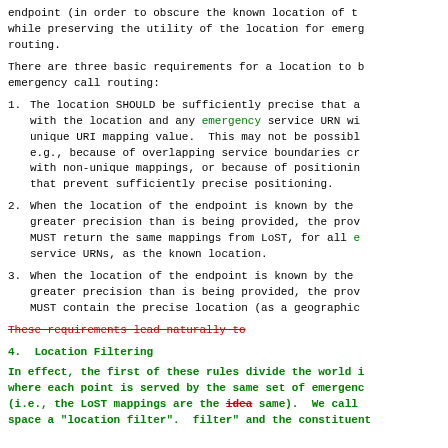endpoint (in order to obscure the known location of the while preserving the utility of the location for emergency routing.
There are three basic requirements for a location to be used for emergency call routing:
1. The location SHOULD be sufficiently precise that a query with the location and any emergency service URN will produce a unique URI mapping value. This may not be possible, e.g., because of overlapping service boundaries creating areas with non-unique mappings, or because of positioning technologies that prevent sufficiently precise positioning.
2. When the location of the endpoint is known by the LIS to greater precision than is being provided, the provided location MUST return the same mappings from LoST, for all emergency service URNs, as the known location.
3. When the location of the endpoint is known by the LIS to greater precision than is being provided, the provided location MUST contain the precise location (as a geographic).
These requirements lead naturally to
4. Location Filtering
In effect, the first of these rules divide the world into areas where each point is served by the same set of emergency services (i.e., the LoST mappings are the idea same). We call space a "location filter". filter" and the constituent...